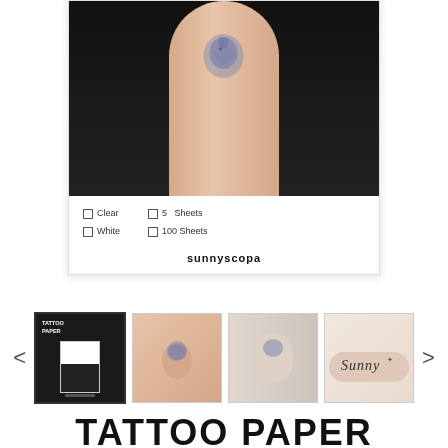[Figure (photo): Product listing page for Tattoo Paper by sunnyscopa. Main image shows a wrist/forearm with a dolphin tattoo applied, against a dark background. Below are product options (Clear/White, 5 Sheets/100 Sheets) and the brand name sunnyscopa. Thumbnail carousel shows 4 product images with navigation arrows.]
TATTOO PAPER
★★★★★ 1 review